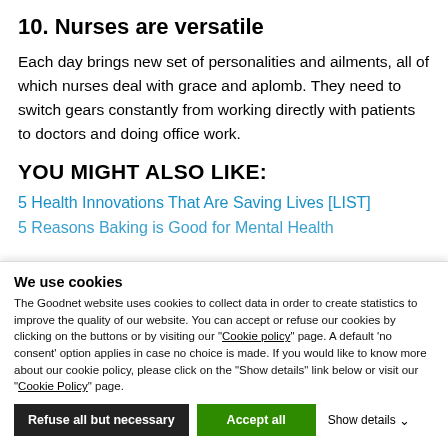10. Nurses are versatile
Each day brings new set of personalities and ailments, all of which nurses deal with grace and aplomb. They need to switch gears constantly from working directly with patients to doctors and doing office work.
YOU MIGHT ALSO LIKE:
5 Health Innovations That Are Saving Lives [LIST]
5 Reasons Baking is Good for Mental Health
We use cookies
The Goodnet website uses cookies to collect data in order to create statistics to improve the quality of our website. You can accept or refuse our cookies by clicking on the buttons or by visiting our "Cookie policy" page. A default 'no consent' option applies in case no choice is made. If you would like to know more about our cookie policy, please click on the "Show details" link below or visit our "Cookie Policy" page.